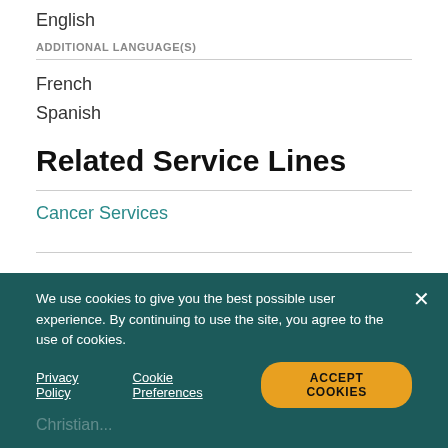English
ADDITIONAL LANGUAGE(S)
French
Spanish
Related Service Lines
Cancer Services
We use cookies to give you the best possible user experience. By continuing to use the site, you agree to the use of cookies.
Privacy Policy   Cookie Preferences   ACCEPT COOKIES